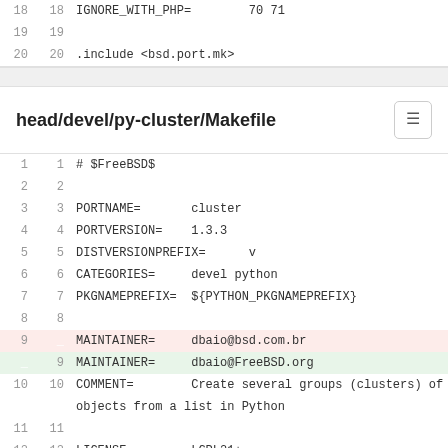18  18  IGNORE_WITH_PHP=        70 71
19  19
20  20  .include <bsd.port.mk>
head/devel/py-cluster/Makefile
1  1   # $FreeBSD$
2  2
3  3   PORTNAME=       cluster
4  4   PORTVERSION=    1.3.3
5  5   DISTVERSIONPREFIX=      v
6  6   CATEGORIES=     devel python
7  7   PKGNAMEPREFIX=  ${PYTHON_PKGNAMEPREFIX}
8  8
9      MAINTAINER=     dbaio@bsd.com.br  [deleted]
   9   MAINTAINER=     dbaio@FreeBSD.org  [added]
10 10  COMMENT=        Create several groups (clusters) of objects from a list in Python
11 11
12 12  LICENSE=        LGPL21+
13 13  LICENSE_FILE=   ${WRKSRC}/LICENSE
14 14
15 15  PORTSCOUT=      skipv:regression
16 16
17 17  USE_GITHUB=     yes
18 18  GH_ACCOUNT=     exhuma